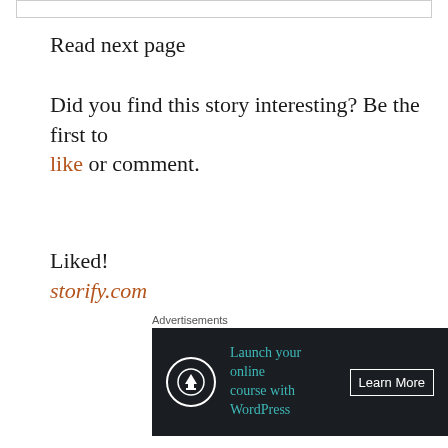Read next page
Did you find this story interesting? Be the first to like or comment.
Liked!
storify.com
Related stories
Advertisements
[Figure (other): Advertisement banner: 'Launch your online course with WordPress' with Learn More button and tree/upload icon, dark background]